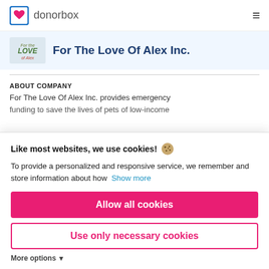donorbox
For The Love Of Alex Inc.
ABOUT COMPANY
For The Love Of Alex Inc. provides emergency funding to save the lives of pets of low-income
Like most websites, we use cookies! 🍪
To provide a personalized and responsive service, we remember and store information about how Show more
Allow all cookies
Use only necessary cookies
More options ▾